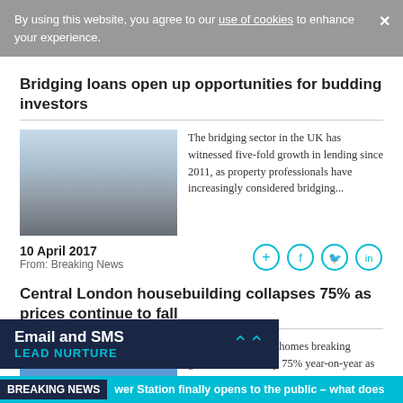By using this website, you agree to our use of cookies to enhance your experience.
Bridging loans open up opportunities for budding investors
[Figure (photo): Photo of a bridge or bridging-related imagery with sky background]
The bridging sector in the UK has witnessed five-fold growth in lending since 2011, as property professionals have increasingly considered bridging...
10 April 2017
From: Breaking News
Central London housebuilding collapses 75% as prices continue to fall
[Figure (photo): Blue placeholder image for second article]
The number of new homes breaking ground in central by 75% year-on-year as housebuilders s on...
BREAKING NEWS  wer Station finally opens to the public – what does